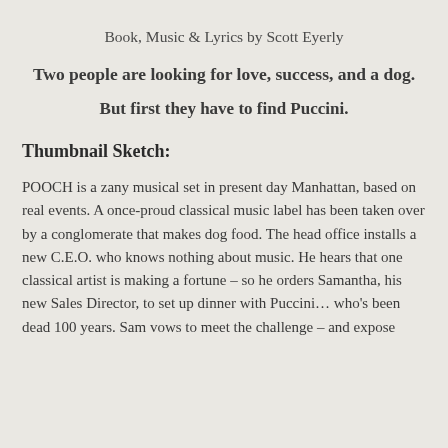Book, Music & Lyrics by Scott Eyerly
Two people are looking for love, success, and a dog.
But first they have to find Puccini.
Thumbnail Sketch:
POOCH is a zany musical set in present day Manhattan, based on real events. A once-proud classical music label has been taken over by a conglomerate that makes dog food. The head office installs a new C.E.O. who knows nothing about music. He hears that one classical artist is making a fortune – so he orders Samantha, his new Sales Director, to set up dinner with Puccini… who's been dead 100 years. Sam vows to meet the challenge – and expose